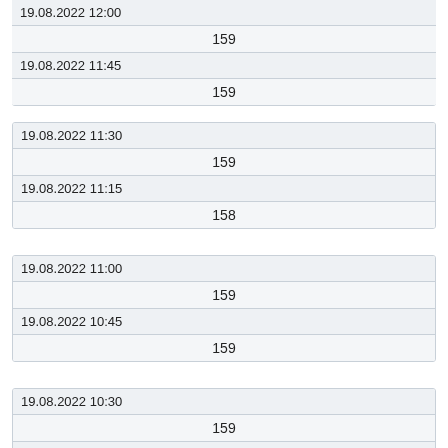| 19.08.2022 12:00 |  |
|  | 159 |
| 19.08.2022 11:45 |  |
|  | 159 |
| 19.08.2022 11:30 |  |
|  | 159 |
| 19.08.2022 11:15 |  |
|  | 158 |
| 19.08.2022 11:00 |  |
|  | 159 |
| 19.08.2022 10:45 |  |
|  | 159 |
| 19.08.2022 10:30 |  |
|  | 159 |
| 19.08.2022 10:15 |  |
|  | 159 |